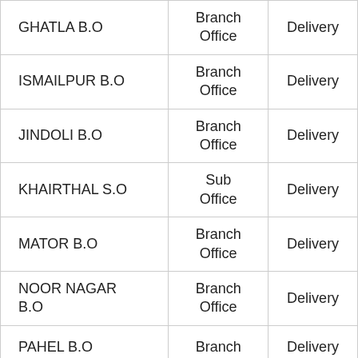| GHATLA B.O | Branch Office | Delivery |
| ISMAILPUR B.O | Branch Office | Delivery |
| JINDOLI B.O | Branch Office | Delivery |
| KHAIRTHAL S.O | Sub Office | Delivery |
| MATOR B.O | Branch Office | Delivery |
| NOOR NAGAR B.O | Branch Office | Delivery |
| PAHEL B.O | Branch | Delivery |